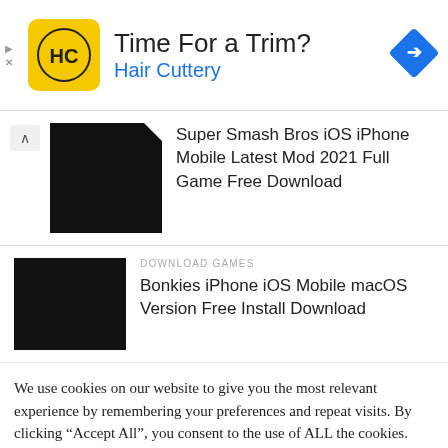[Figure (other): Hair Cuttery advertisement banner with yellow square logo showing HC letters, heading 'Time For a Trim?' and blue navigation arrow icon]
Super Smash Bros iOS iPhone Mobile Latest Mod 2021 Full Game Free Download
DOWNLOAD GAMES
Bonkies iPhone iOS Mobile macOS Version Free Install Download
We use cookies on our website to give you the most relevant experience by remembering your preferences and repeat visits. By clicking “Accept All”, you consent to the use of ALL the cookies. However, you may visit "Cookie Settings" to provide a controlled consent.